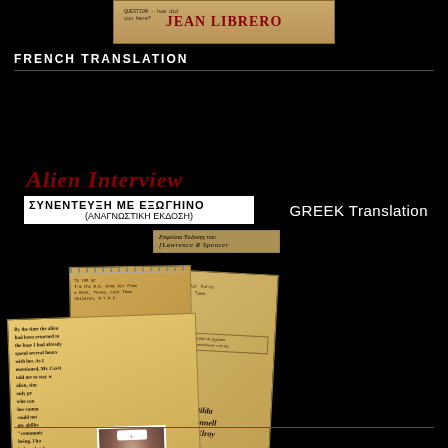[Figure (illustration): Top portion of a book cover for 'Jean Librero' on aged parchment background with red title text and handwritten question text on left side]
FRENCH TRANSLATION
[Figure (illustration): Greek translation book cover of 'Alien Interview' (ΣΥΝΕΝΤΕΥΞΗ ΜΕ ΕΞΩΓΗΙΝΟ) with scattered aged document pages collage, nurse photo, and author name Matilda O'Donnell MacElroy. Edited by Lawrence R Spencer. Greek translation by Σοφία Κουντζέρη & Αγγελική Κηρανούρού]
GREEK Translation